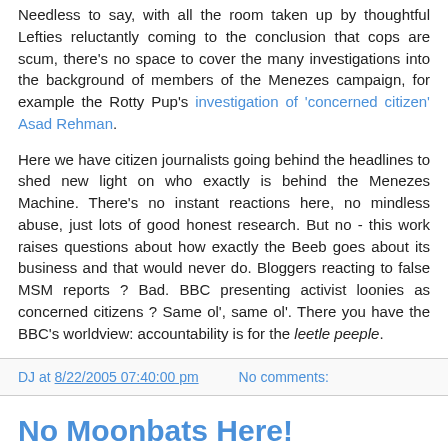Needless to say, with all the room taken up by thoughtful Lefties reluctantly coming to the conclusion that cops are scum, there's no space to cover the many investigations into the background of members of the Menezes campaign, for example the Rotty Pup's investigation of 'concerned citizen' Asad Rehman.

Here we have citizen journalists going behind the headlines to shed new light on who exactly is behind the Menezes Machine. There's no instant reactions here, no mindless abuse, just lots of good honest research. But no - this work raises questions about how exactly the Beeb goes about its business and that would never do. Bloggers reacting to false MSM reports ? Bad. BBC presenting activist loonies as concerned citizens ? Same ol', same ol'. There you have the BBC's worldview: accountability is for the leetle peeple.
DJ at 8/22/2005 07:40:00 pm   No comments:
No Moonbats Here!